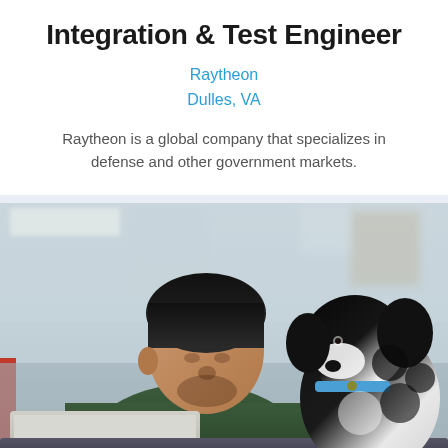Integration & Test Engineer
Raytheon
Dulles, VA
Raytheon is a global company that specializes in defense and other government markets.
[Figure (photo): A man in a dark green sweater sits at a laptop, looking at a black and white dog that appears to be looking up at him. They are in what appears to be an office environment with blurred background.]